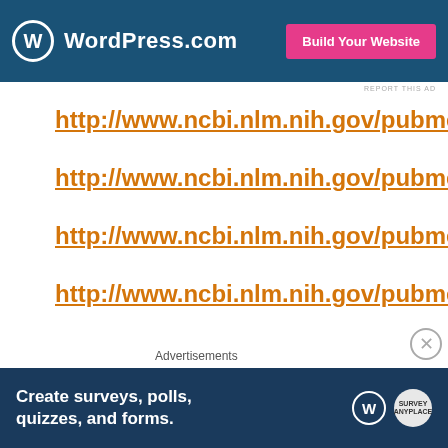[Figure (screenshot): WordPress.com advertisement banner with blue background, WordPress logo and 'Build Your Website' pink button]
REPORT THIS AD
http://www.ncbi.nlm.nih.gov/pubmed/24310148
http://www.ncbi.nlm.nih.gov/pubmed/1494326
http://www.ncbi.nlm.nih.gov/pubmed/20572300
http://www.ncbi.nlm.nih.gov/pubmed/18685464
Advertisements
[Figure (screenshot): Advertisement banner with dark blue background showing 'Create surveys, polls, quizzes, and forms.' with WordPress logo]